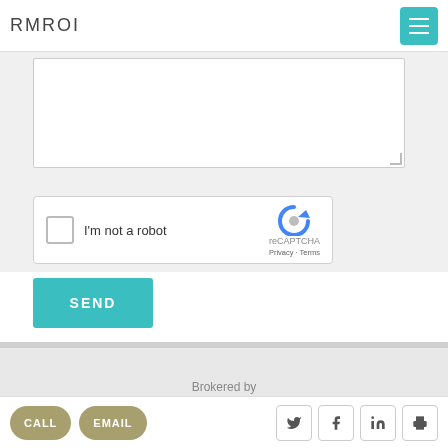RMROI
[Figure (screenshot): reCAPTCHA widget with checkbox labeled 'I'm not a robot' and Google reCAPTCHA logo]
SEND
Brokered by
Riviera Maya Return On Investment
CALL
EMAIL